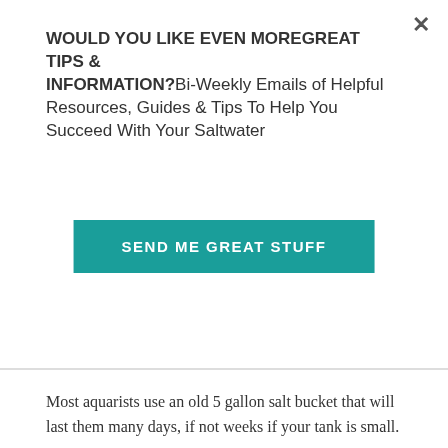WOULD YOU LIKE EVEN MOREGREAT TIPS & INFORMATION?Bi-Weekly Emails of Helpful Resources, Guides & Tips To Help You Succeed With Your Saltwater
[Figure (other): Teal 'SEND ME GREAT STUFF' button]
Most aquarists use an old 5 gallon salt bucket that will last them many days, if not weeks if your tank is small.
For a great selection of ATO systems, you can view them Here at Amazon.com
[Figure (other): Teal horizontal divider line with teal heart circle icon on the right]
Water Change Control